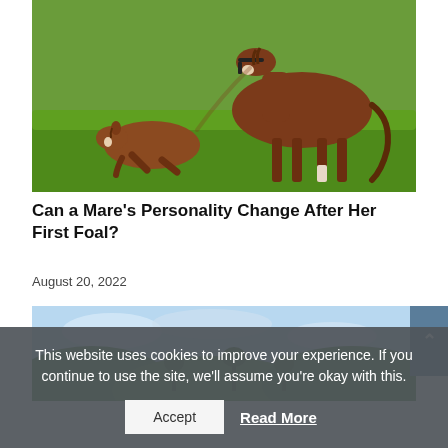[Figure (photo): A brown mare standing on green grass, bending her head down toward a small brown foal lying on the ground beside her.]
Can a Mare's Personality Change After Her First Foal?
August 20, 2022
[Figure (photo): Partial view of a landscape with blue sky and green hills/trees.]
This website uses cookies to improve your experience. If you continue to use the site, we'll assume you're okay with this.
Accept
Read More